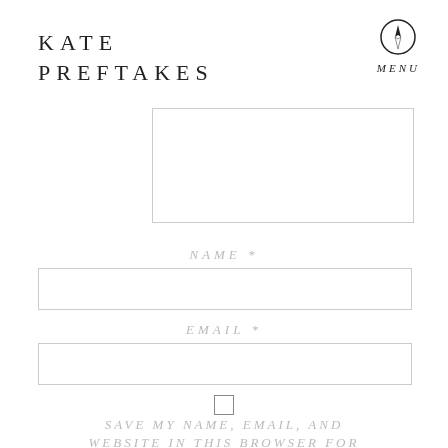KATE PREFTAKES
[Figure (illustration): Compass/navigation icon circle with arrow pointer inside, with MENU label beneath]
NAME *
EMAIL *
SAVE MY NAME, EMAIL, AND WEBSITE IN THIS BROWSER FOR